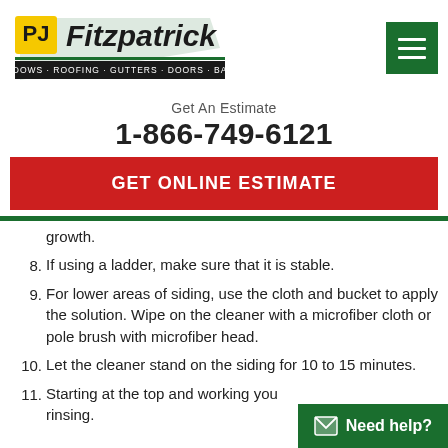[Figure (logo): PJ Fitzpatrick logo with text WINDOWS · ROOFING · GUTTERS · DOORS · BATHS]
Get An Estimate
1-866-749-6121
GET ONLINE ESTIMATE
growth.
8. If using a ladder, make sure that it is stable.
9. For lower areas of siding, use the cloth and bucket to apply the solution. Wipe on the cleaner with a microfiber cloth or pole brush with microfiber head.
10. Let the cleaner stand on the siding for 10 to 15 minutes.
11. Starting at the top and working you... rinsing.
Need help?